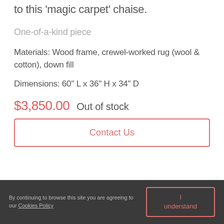to this 'magic carpet' chaise.
One-of-a-kind piece
Materials: Wood frame, crewel-worked rug (wool & cotton), down fill
Dimensions: 60" L x 36" H x 34" D
$3,850.00   Out of stock
Contact Us
By continuing to browse this site you are agreeing to our Cookies Policy   I understand